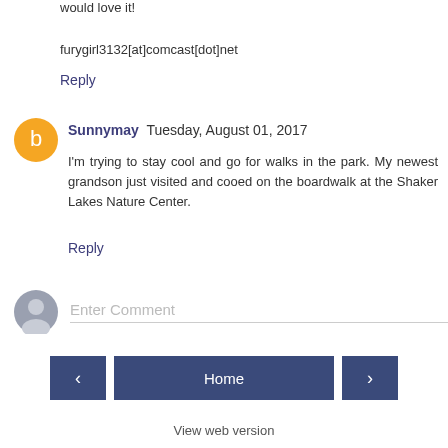would love it!
furygirl3132[at]comcast[dot]net
Reply
Sunnymay  Tuesday, August 01, 2017
I'm trying to stay cool and go for walks in the park. My newest grandson just visited and cooed on the boardwalk at the Shaker Lakes Nature Center.
Reply
Enter Comment
Home
View web version